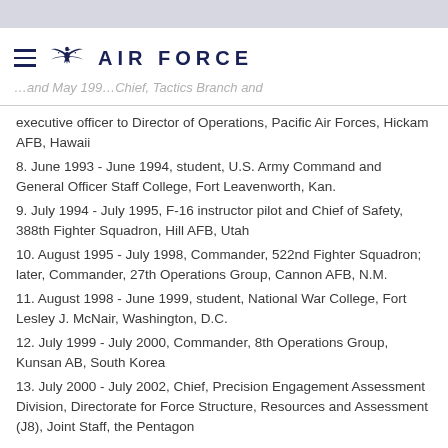AIR FORCE
executive officer to Director of Operations, Pacific Air Forces, Hickam AFB, Hawaii
8. June 1993 - June 1994, student, U.S. Army Command and General Officer Staff College, Fort Leavenworth, Kan.
9. July 1994 - July 1995, F-16 instructor pilot and Chief of Safety, 388th Fighter Squadron, Hill AFB, Utah
10. August 1995 - July 1998, Commander, 522nd Fighter Squadron; later, Commander, 27th Operations Group, Cannon AFB, N.M.
11. August 1998 - June 1999, student, National War College, Fort Lesley J. McNair, Washington, D.C.
12. July 1999 - July 2000, Commander, 8th Operations Group, Kunsan AB, South Korea
13. July 2000 - July 2002, Chief, Precision Engagement Assessment Division, Directorate for Force Structure, Resources and Assessment (J8), Joint Staff, the Pentagon